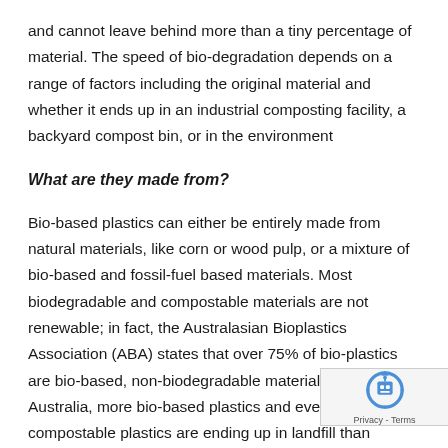and cannot leave behind more than a tiny percentage of material. The speed of bio-degradation depends on a range of factors including the original material and whether it ends up in an industrial composting facility, a backyard compost bin, or in the environment
What are they made from?
Bio-based plastics can either be entirely made from natural materials, like corn or wood pulp, or a mixture of bio-based and fossil-fuel based materials. Most biodegradable and compostable materials are not renewable; in fact, the Australasian Bioplastics Association (ABA) states that over 75% of bio-plastics are bio-based, non-biodegradable materials. Currently in Australia, more bio-based plastics and even fully compostable plastics are ending up in landfill than actually being disposed of in an environment that allows them to compost. The expansion of composting infrastructure over the next few years will help curb this issue, as long as consumers are actively engaged and follow correct waste disposal
[Figure (other): reCAPTCHA badge showing robot icon with 'Privacy - Terms' text]